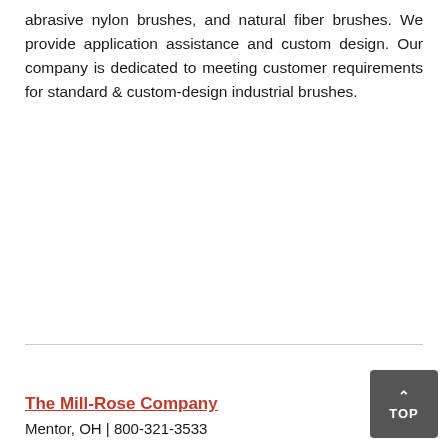abrasive nylon brushes, and natural fiber brushes. We provide application assistance and custom design. Our company is dedicated to meeting customer requirements for standard & custom-design industrial brushes.
The Mill-Rose Company
Mentor, OH | 800-321-3533